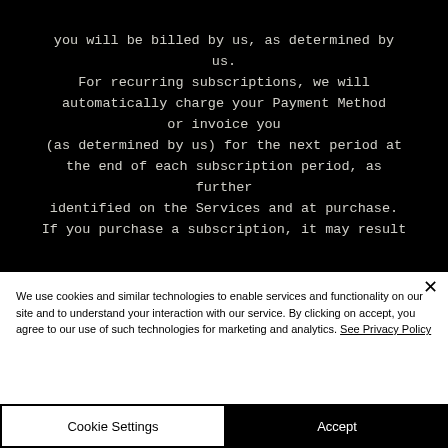you will be billed by us, as determined by us. For recurring subscriptions, we will automatically charge your Payment Method or invoice you (as determined by us) for the next period at the end of each subscription period, as further identified on the Services and at purchase. If you purchase a subscription, it may result
We use cookies and similar technologies to enable services and functionality on our site and to understand your interaction with our service. By clicking on accept, you agree to our use of such technologies for marketing and analytics. See Privacy Policy